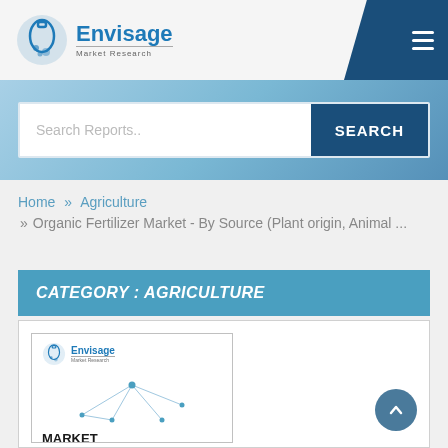[Figure (logo): Envisage Market Research logo with flask icon and company name]
Search Reports..
SEARCH
Home » Agriculture » Organic Fertilizer Market - By Source (Plant origin, Animal ...
CATEGORY : AGRICULTURE
[Figure (other): Envisage Market Research report cover thumbnail showing network graphic with MARKET RESEARCH text]